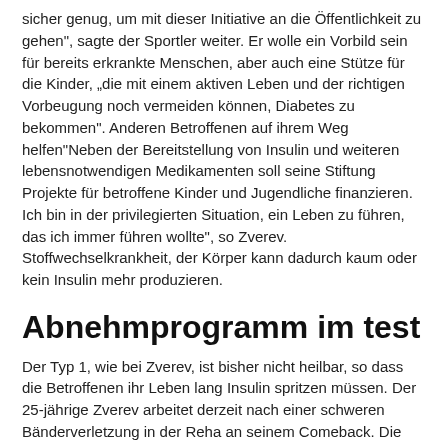sicher genug, um mit dieser Initiative an die Öffentlichkeit zu gehen", sagte der Sportler weiter. Er wolle ein Vorbild sein für bereits erkrankte Menschen, aber auch eine Stütze für die Kinder, „die mit einem aktiven Leben und der richtigen Vorbeugung noch vermeiden können, Diabetes zu bekommen". Anderen Betroffenen auf ihrem Weg helfen"Neben der Bereitstellung von Insulin und weiteren lebensnotwendigen Medikamenten soll seine Stiftung Projekte für betroffene Kinder und Jugendliche finanzieren. Ich bin in der privilegierten Situation, ein Leben zu führen, das ich immer führen wollte", so Zverev. Stoffwechselkrankheit, der Körper kann dadurch kaum oder kein Insulin mehr produzieren.
Abnehmprogramm im test
Der Typ 1, wie bei Zverev, ist bisher nicht heilbar, so dass die Betroffenen ihr Leben lang Insulin spritzen müssen. Der 25-jährige Zverev arbeitet derzeit nach einer schweren Bänderverletzung in der Reha an seinem Comeback. Die Weltgesundheitsorganisation empfiehlt seit Kurzem den Einsatz einer besonders teuren Diabetes-Therapie. Künftig könnten so in Entwicklungsländern viel weniger Patienten versorgt werden als mit Humaninsulin. In anspruchsvollen Berufsfeldern im Stellenmarkt der SZ. Sie möchten die digitalen